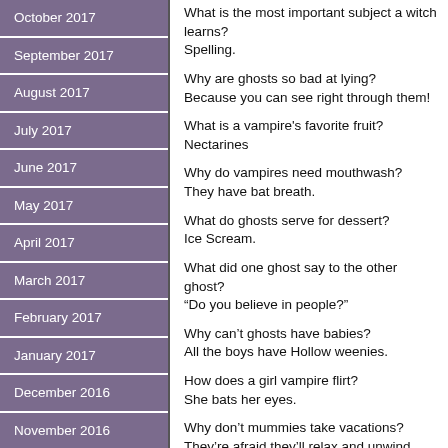October 2017
September 2017
August 2017
July 2017
June 2017
May 2017
April 2017
March 2017
February 2017
January 2017
December 2016
November 2016
October 2016
September 2016
August 2016
What is the most important subject a witch learns? Spelling.

Why are ghosts so bad at lying? Because you can see right through them!

What is a vampire's favorite fruit? Nectarines

Why do vampires need mouthwash? They have bat breath.

What do ghosts serve for dessert? Ice Scream.

What did one ghost say to the other ghost? “Do you believe in people?”

Why can’t ghosts have babies? All the boys have Hollow weenies.

How does a girl vampire flirt? She bats her eyes.

Why don’t mummies take vacations? They’re afraid they’ll relax and unwind.

When does a skeleton laugh? When something tickles his funny bone.

Why do ghouls and demons hang out together? Because demons are a ghoul’s best friend.

What do you call two spiders who just got marri...